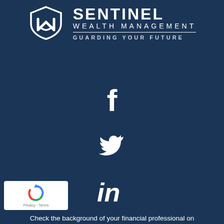[Figure (logo): Sentinel Wealth Management logo with shield icon, brand name, divider line, and tagline 'GUARDING YOUR FUTURE']
[Figure (illustration): Facebook icon (white 'f' letterform) on dark blue background]
[Figure (illustration): Twitter bird icon (white) on dark blue background]
[Figure (illustration): LinkedIn 'in' icon (white) on dark blue background]
[Figure (illustration): reCAPTCHA badge with rotating arrow logo, Privacy and Terms links]
Check the background of your financial professional on